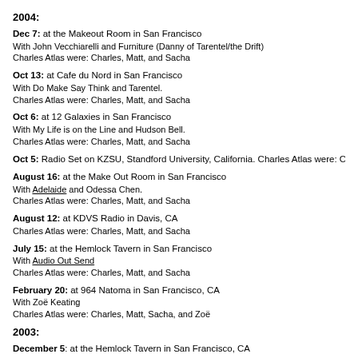2004:
Dec 7: at the Makeout Room in San Francisco
With John Vecchiarelli and Furniture (Danny of Tarentel/the Drift)
Charles Atlas were: Charles, Matt, and Sacha
Oct 13: at Cafe du Nord in San Francisco
With Do Make Say Think and Tarentel.
Charles Atlas were: Charles, Matt, and Sacha
Oct 6: at 12 Galaxies in San Francisco
With My Life is on the Line and Hudson Bell.
Charles Atlas were: Charles, Matt, and Sacha
Oct 5: Radio Set on KZSU, Standford University, California. Charles Atlas were: Charle
August 16: at the Make Out Room in San Francisco
With Adelaide and Odessa Chen.
Charles Atlas were: Charles, Matt, and Sacha
August 12: at KDVS Radio in Davis, CA
Charles Atlas were: Charles, Matt, and Sacha
July 15: at the Hemlock Tavern in San Francisco
With Audio Out Send
Charles Atlas were: Charles, Matt, and Sacha
February 20: at 964 Natoma in San Francisco, CA
With Zoë Keating
Charles Atlas were: Charles, Matt, Sacha, and Zoë
2003:
December 5: at the Hemlock Tavern in San Francisco, CA
With Jesse Denatale and Odessa Chen
Charles Atlas were: Charles, Matt, and Sacha